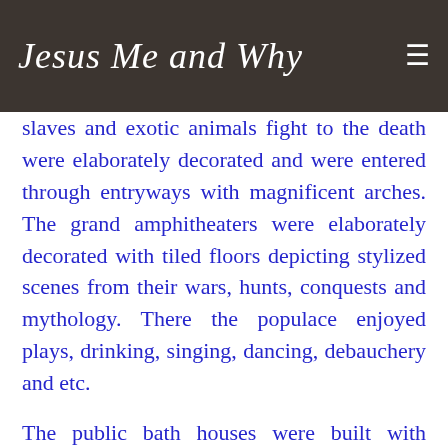Jesus Me and Why
slaves and exotic animals fight to the death were elaborately decorated and were entered through entryways with magnificent arches. The grand amphitheaters were elaborately decorated with tiled floors depicting stylized scenes from their wars, hunts, conquests and mythology. There the populace enjoyed plays, drinking, singing, dancing, debauchery and etc.
The public bath houses were built with marble lined interconnected chambers each containing huge marble tubs, carved stone benches, tiled